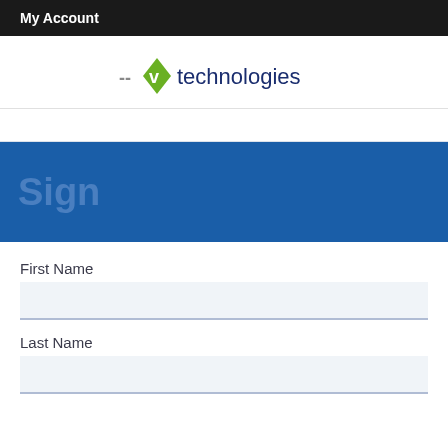My Account
[Figure (logo): v technologies logo with green diamond shape and dark blue text]
Sign
First Name
Last Name